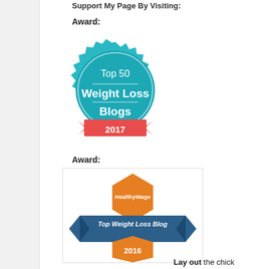Support My Page By Visiting:
Award:
[Figure (logo): Teal/turquoise badge: Top 50 Weight Loss Blogs 2017 with red ribbon banner]
Award:
[Figure (logo): HealthyWage orange hexagon and blue banner: Top Weight Loss Blog 2016]
Lay out the chick